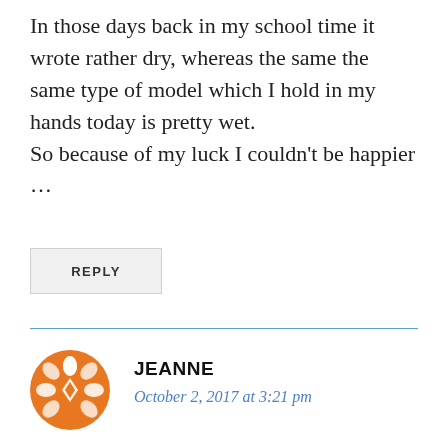In those days back in my school time it wrote rather dry, whereas the same the same type of model which I hold in my hands today is pretty wet.
So because of my luck I couldn't be happier …
REPLY
JEANNE
October 2, 2017 at 3:21 pm
Lamy Safari was my first fp. I now have many. I write with one every day. Your review is excellent.